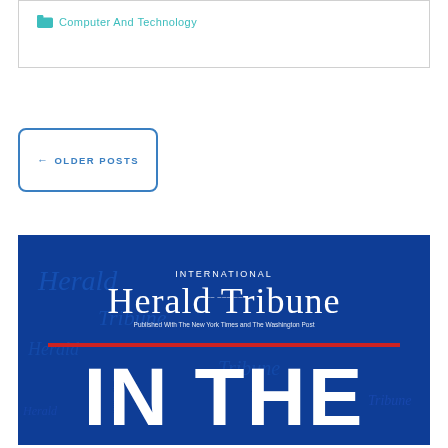Computer And Technology
← OLDER POSTS
[Figure (photo): International Herald Tribune newspaper front page image showing the masthead 'International Herald Tribune' and large text 'IN THE' on a blue background]